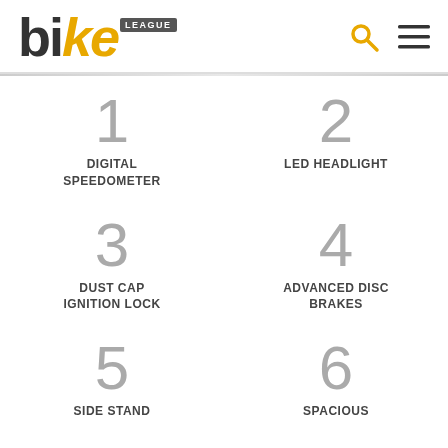[Figure (logo): Bike League logo with stylized text 'bike' where 'i' is replaced by yellow shape, with LEAGUE badge, search icon, and hamburger menu icon]
1 DIGITAL SPEEDOMETER
2 LED HEADLIGHT
3 DUST CAP IGNITION LOCK
4 ADVANCED DISC BRAKES
5 SIDE STAND
6 SPACIOUS